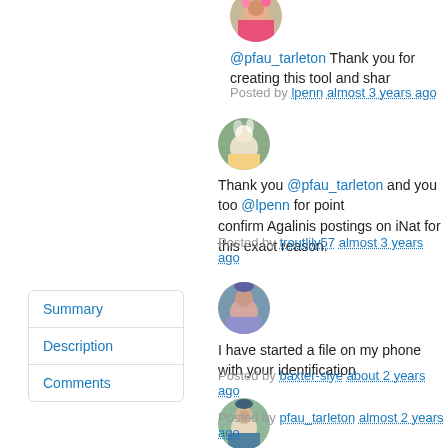[Figure (photo): User avatar photo - circular profile image at top]
@pfau_tarleton Thank you for creating this tool and shar
Posted by lpenn almost 3 years ago
[Figure (photo): User avatar photo - circular profile image with floral image]
Thank you @pfau_tarleton and you too @lpenn for point confirm Agalinis postings on iNat for this exact reason.
Posted by troutlily57 almost 3 years ago
Summary
Description
Comments
[Figure (photo): User avatar photo - circular profile image outdoors]
I have started a file on my phone with your identification
Posted by baxter-slye about 2 years ago
[Figure (photo): User avatar photo - circular profile image of person smiling]
Last year I started seeing Agalinis blooming behind my h a single plant exists, much less blooming. I suppose timin
Posted by pfau_tarleton almost 2 years ago
[Figure (photo): User avatar photo - partial view at bottom]